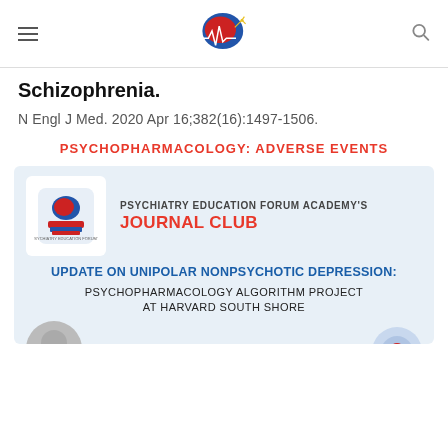[Navigation header with logo]
Schizophrenia.
N Engl J Med. 2020 Apr 16;382(16):1497-1506.
PSYCHOPHARMACOLOGY: ADVERSE EVENTS
[Figure (infographic): Psychiatry Education Forum Academy's Journal Club banner. UPDATE ON UNIPOLAR NONPSYCHOTIC DEPRESSION: PSYCHOPHARMACOLOGY ALGORITHM PROJECT AT HARVARD SOUTH SHORE. DR. HARVINDER SINGH.]